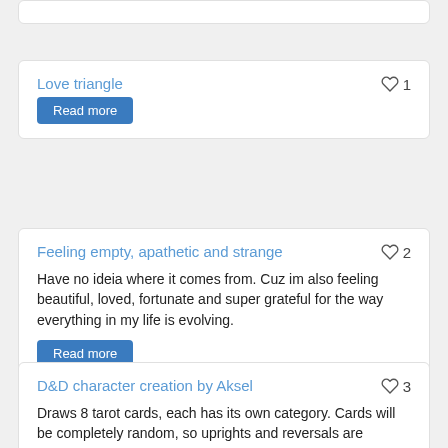Love triangle
♡ 1
Read more
Feeling empty, apathetic and strange
♡ 2
Have no ideia where it comes from. Cuz im also feeling beautiful, loved, fortunate and super grateful for the way everything in my life is evolving.
Read more
D&D character creation by Aksel
♡ 3
Draws 8 tarot cards, each has its own category. Cards will be completely random, so uprights and reversals are possible. You can however treat them all as just uprights and go from there. Inspired by: Mark McElroy & TarotTools.com.
Read more